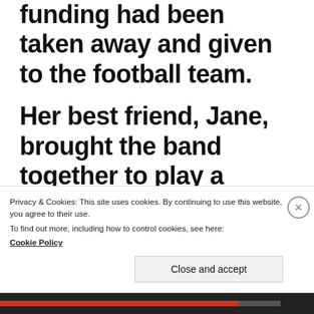funding had been taken away and given to the football team.
Her best friend, Jane, brought the band together to play a prank on the team in protest.
Privacy & Cookies: This site uses cookies. By continuing to use this website, you agree to their use.
To find out more, including how to control cookies, see here:
Cookie Policy
Close and accept